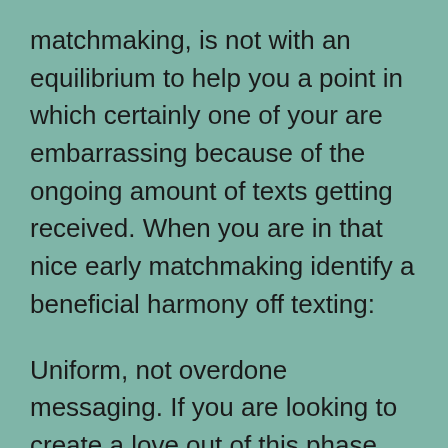matchmaking, is not with an equilibrium to help you a point in which certainly one of your are embarrassing because of the ongoing amount of texts getting received. When you are in that nice early matchmaking identify a beneficial harmony off texting:
Uniform, not overdone messaging. If you are looking to create a love out of this phase away from matchmaking, after that feel is fairly extremely important. It's important never to become manipulative and you may over do texting at initial amounts away from relationship. Proceed with the time, and find